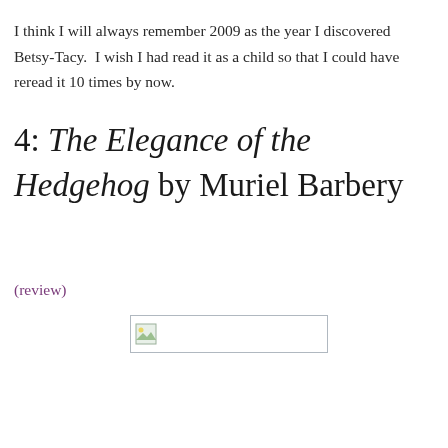I think I will always remember 2009 as the year I discovered Betsy-Tacy.  I wish I had read it as a child so that I could have reread it 10 times by now.
4: The Elegance of the Hedgehog by Muriel Barbery
(review)
[Figure (other): Broken/placeholder image thumbnail — small landscape icon with a rectangular border, no visible image content loaded]